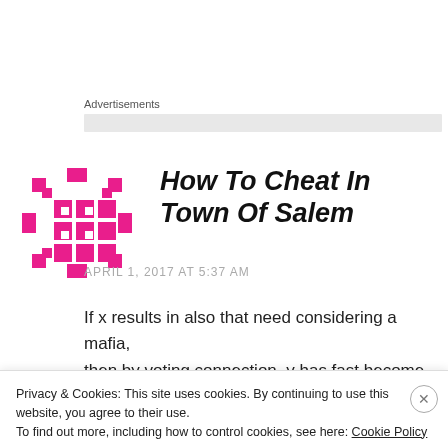Advertisements
How To Cheat In Town Of Salem
APRIL 1, 2017 AT 5:37 AM
If x results in also that need considering a mafia, then by voting connection, y has fast become definitely a mafia, although he might not
Privacy & Cookies: This site uses cookies. By continuing to use this website, you agree to their use.
To find out more, including how to control cookies, see here: Cookie Policy
Close and accept